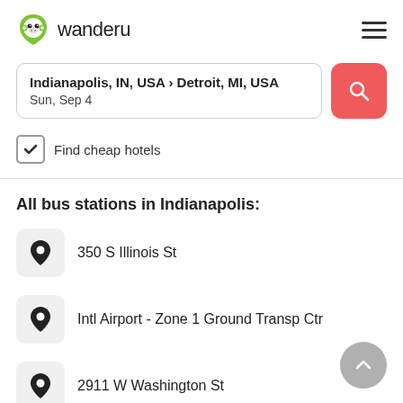[Figure (logo): Wanderu logo: green monkey face icon with the text 'wanderu' beside it]
Indianapolis, IN, USA › Detroit, MI, USA
Sun, Sep 4
[Figure (other): Red search button with magnifying glass icon]
Find cheap hotels
All bus stations in Indianapolis:
350 S Illinois St
Intl Airport - Zone 1 Ground Transp Ctr
2911 W Washington St